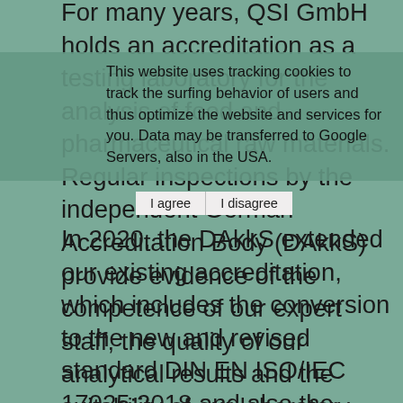For many years, QSI GmbH holds an accreditation as a testing laboratory for the analysis of food and pharmaceutical raw materials. Regular inspections by the independent German Accreditation Body (DAkkS) provide evidence of the competence of our expert staff, the quality of our analytical results and the suitability of our laboratory equipment.
This website uses tracking cookies to track the surfing behavior of users and thus optimize the website and services for you. Data may be transferred to Google Servers, also in the USA.
I agree  I disagree
In 2020, the DAkkS extended our existing accreditation, which includes the conversion to the new and revised standard DIN EN ISO/IEC 17025:2018 and also the confirmation of the flexible scope of accreditation. The flexible accreditation allows us as a testing laboratory to use further standard methods as well as the modification of existing test methods, which go beyond the methods mentioned in the